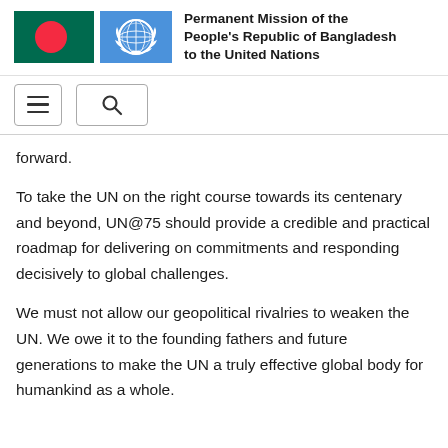Permanent Mission of the People's Republic of Bangladesh to the United Nations
[Figure (logo): Bangladesh national flag and United Nations flag side by side]
forward.
To take the UN on the right course towards its centenary and beyond, UN@75 should provide a credible and practical roadmap for delivering on commitments and responding decisively to global challenges.
We must not allow our geopolitical rivalries to weaken the UN. We owe it to the founding fathers and future generations to make the UN a truly effective global body for humankind as a whole.